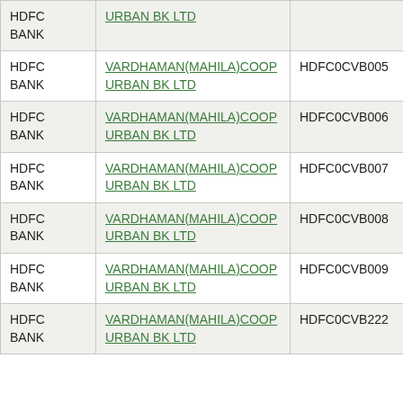| Bank | Branch Name | IFSC Code | MICR Code |
| --- | --- | --- | --- |
| HDFC BANK | URBAN BK LTD |  |  |
| HDFC BANK | VARDHAMAN(MAHILA)COOP URBAN BK LTD | HDFC0CVB005 | 500222... |
| HDFC BANK | VARDHAMAN(MAHILA)COOP URBAN BK LTD | HDFC0CVB006 | 500222... |
| HDFC BANK | VARDHAMAN(MAHILA)COOP URBAN BK LTD | HDFC0CVB007 | 500222... |
| HDFC BANK | VARDHAMAN(MAHILA)COOP URBAN BK LTD | HDFC0CVB008 | 500222... |
| HDFC BANK | VARDHAMAN(MAHILA)COOP URBAN BK LTD | HDFC0CVB009 | 500222... |
| HDFC BANK | VARDHAMAN(MAHILA)COOP URBAN BK LTD | HDFC0CVB222 | 500222... |